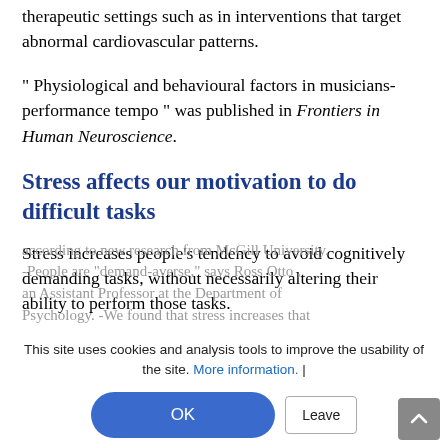therapeutic settings such as in interventions that target abnormal cardiovascular patterns.
" Physiological and behavioural factors in musicians- performance tempo " was published in Frontiers in Human Neuroscience.
Stress affects our motivation to do difficult tasks
Stress increases people’s tendency to avoid cognitively demanding tasks, without necessarily altering their ability to perform those tasks according to new research from McGill University. -People are “demand-averse,” says Ross Otto , an Assistant Professor at the Department of Psychology. -We found that stress increases that
This site uses cookies and analysis tools to improve the usability of the site. More information. |
OK
Leave